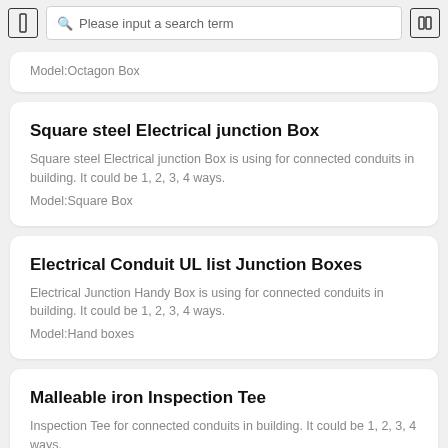Please input a search term
Model:Octagon Box
Square steel Electrical junction Box
Square steel Electrical junction Box is using for connected conduits in building. It could be 1, 2, 3, 4 ways.
Model:Square Box
Electrical Conduit UL list Junction Boxes
Electrical Junction Handy Box is using for connected conduits in building. It could be 1, 2, 3, 4 ways.
Model:Hand boxes
Malleable iron Inspection Tee
Inspection Tee for connected conduits in building. It could be 1, 2, 3, 4 ways.